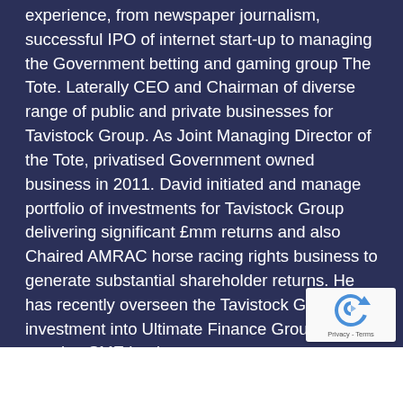experience, from newspaper journalism, successful IPO of internet start-up to managing the Government betting and gaming group The Tote. Laterally CEO and Chairman of diverse range of public and private businesses for Tavistock Group. As Joint Managing Director of the Tote, privatised Government owned business in 2011. David initiated and manage portfolio of investments for Tavistock Group delivering significant £mm returns and also Chaired AMRAC horse racing rights business to generate substantial shareholder returns. He has recently overseen the Tavistock Group investment into Ultimate Finance Group, a fast growing SME lender.
[Figure (other): reCAPTCHA badge with Privacy - Terms text]